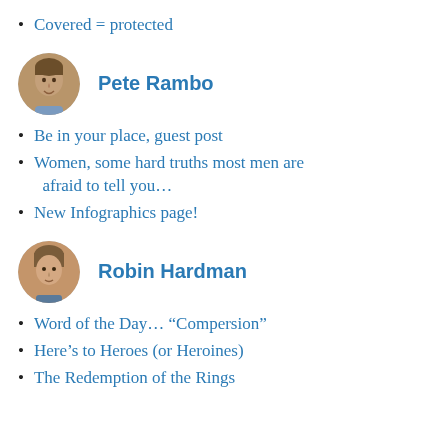Covered = protected
[Figure (photo): Circular avatar photo of Pete Rambo, a man]
Pete Rambo
Be in your place, guest post
Women, some hard truths most men are afraid to tell you...
New Infographics page!
[Figure (photo): Circular avatar photo of Robin Hardman, a woman]
Robin Hardman
Word of the Day… “Compersion”
Here’s to Heroes (or Heroines)
The Redemption of the Rings